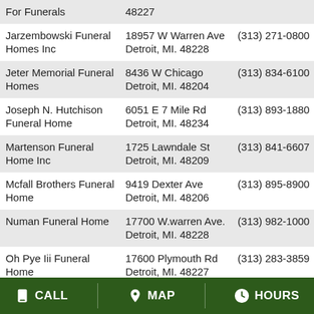| Name | Address | Phone |
| --- | --- | --- |
| For Funerals | 48227 |  |
| Jarzembowski Funeral Homes Inc | 18957 W Warren Ave Detroit, MI. 48228 | (313) 271-0800 |
| Jeter Memorial Funeral Homes | 8436 W Chicago Detroit, MI. 48204 | (313) 834-6100 |
| Joseph N. Hutchison Funeral Home | 6051 E 7 Mile Rd Detroit, MI. 48234 | (313) 893-1880 |
| Martenson Funeral Home Inc | 1725 Lawndale St Detroit, MI. 48209 | (313) 841-6607 |
| Mcfall Brothers Funeral Home | 9419 Dexter Ave Detroit, MI. 48206 | (313) 895-8900 |
| Numan Funeral Home | 17700 W.warren Ave. Detroit, MI. 48228 | (313) 982-1000 |
| Oh Pye Iii Funeral Home | 17600 Plymouth Rd Detroit, MI. 48227 | (313) 283-3859 |
| Peace Chapel Funeral Home Inc | 12530 E 7 Mile Rd Detroit, MI. 48205 | (313) 371-0120 |
| Peach Chapel Funeral | 19530 W 7 Mile Road | (313) 535-6477 |
CALL  MAP  HOURS